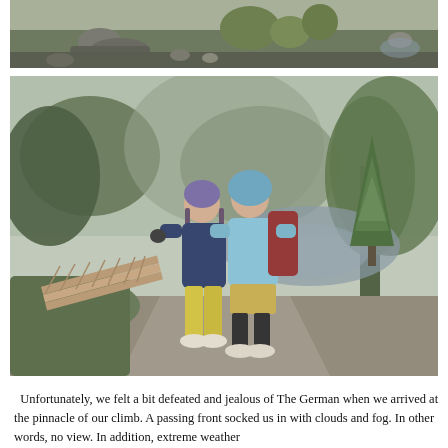[Figure (photo): Top partial photo showing rocky terrain with mossy grass tufts, stones, and overcast sky — a highland or alpine scene.]
[Figure (photo): Two women hikers standing on a gravel path in a misty, forested alpine area. One wears a navy fleece with yellow pants, the other a light blue rain jacket with khaki shorts and tall socks. A wooden footbridge is visible to the left; a reflective pond and trees appear in the foggy background.]
Unfortunately, we felt a bit defeated and jealous of The German when we arrived at the pinnacle of our climb. A passing front socked us in with clouds and fog. In other words, no view. In addition, extreme weather